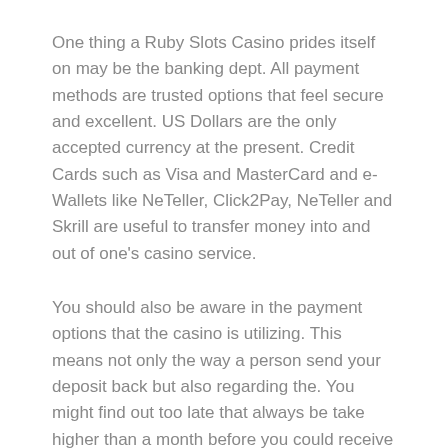One thing a Ruby Slots Casino prides itself on may be the banking dept. All payment methods are trusted options that feel secure and excellent. US Dollars are the only accepted currency at the present. Credit Cards such as Visa and MasterCard and e-Wallets like NeTeller, Click2Pay, NeTeller and Skrill are useful to transfer money into and out of one's casino service.
You should also be aware in the payment options that the casino is utilizing. This means not only the way a person send your deposit back but also regarding the. You might find out too late that always be take higher than a month before you could receive your winnings upon getting withdrawn it from your account. Also, make sure how the minimum amount required which causes the area take out of money is not set absurdly high.